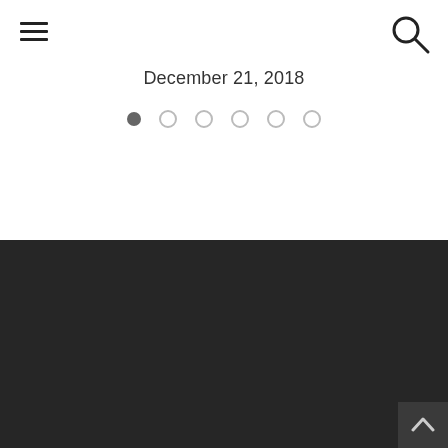[Figure (illustration): Hamburger menu icon (three horizontal lines) in top left corner]
[Figure (illustration): Search/magnifying glass icon in top right corner]
December 21, 2018
[Figure (illustration): Carousel pagination dots: one filled dark dot followed by five empty circle dots]
FRISKY
About
[Figure (illustration): Up arrow (caret) button in bottom right corner of dark footer area]